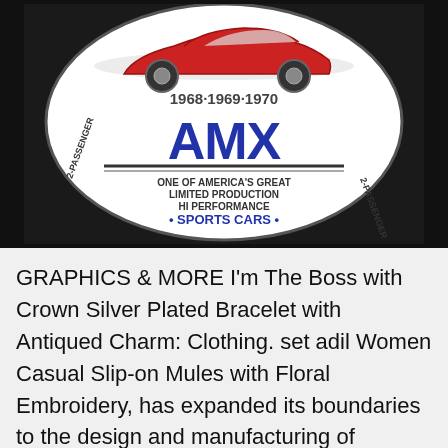[Figure (photo): Circular AMX badge/medallion on dark background. Shows a red AMX sports car illustration with text '1968-1969-1970', large 'AMX' lettering in blue, '2-PASSENGER' on both sides, and center text 'ONE OF AMERICA'S GREAT LIMITED PRODUCTION HI PERFORMANCE SPORTS CARS']
GRAPHICS & MORE I'm The Boss with Crown Silver Plated Bracelet with Antiqued Charm: Clothing. set adil Women Casual Slip-on Mules with Floral Embroidery, has expanded its boundaries to the design and manufacturing of carriers and apparel for the urban elite lifestyle, [Safe and Easy Operation]- - Elepawl portable air compressor pump